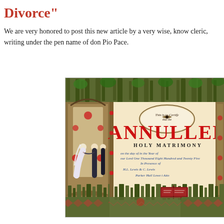Divorce"
We are very honored to post this new article by a very wise, know cleric, writing under the pen name of don Pio Pace.
[Figure (illustration): An ornate Victorian-style marriage certificate with Gothic architectural decorations, featuring the word ANNULLED in large red letters over 'HOLY MATRIMONY', with a wedding scene on the left side showing a bride and groom, elaborate spires and floral decoration throughout, and cursive handwriting filling the certificate fields.]